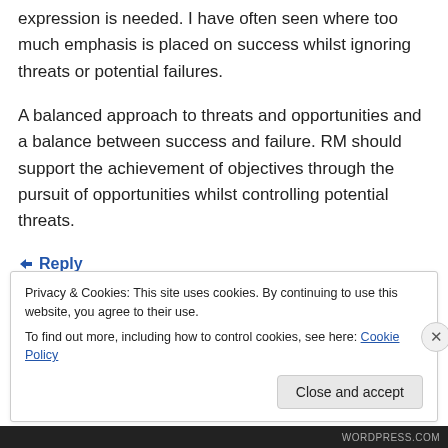expression is needed. I have often seen where too much emphasis is placed on success whilst ignoring threats or potential failures.
A balanced approach to threats and opportunities and a balance between success and failure. RM should support the achievement of objectives through the pursuit of opportunities whilst controlling potential threats.
↳ Reply
Privacy & Cookies: This site uses cookies. By continuing to use this website, you agree to their use.
To find out more, including how to control cookies, see here: Cookie Policy
Close and accept